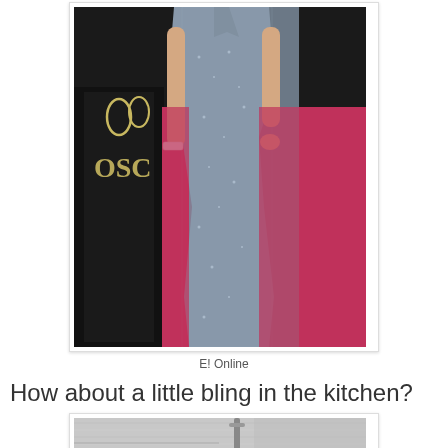[Figure (photo): A woman wearing a silver/grey sequined floor-length gown standing on a pink/red Oscars red carpet, with the Oscars logo partially visible in the background.]
E! Online
How about a little bling in the kitchen?
[Figure (photo): Partially visible image of what appears to be a kitchen or metallic surface with some fixtures.]